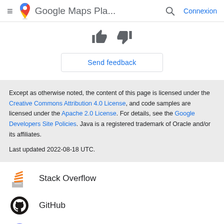≡  Google Maps Pla...  🔍  Connexion
[Figure (illustration): Thumbs up and thumbs down icons for feedback rating]
Send feedback
Except as otherwise noted, the content of this page is licensed under the Creative Commons Attribution 4.0 License, and code samples are licensed under the Apache 2.0 License. For details, see the Google Developers Site Policies. Java is a registered trademark of Oracle and/or its affiliates.

Last updated 2022-08-18 UTC.
Stack Overflow
GitHub
Discord